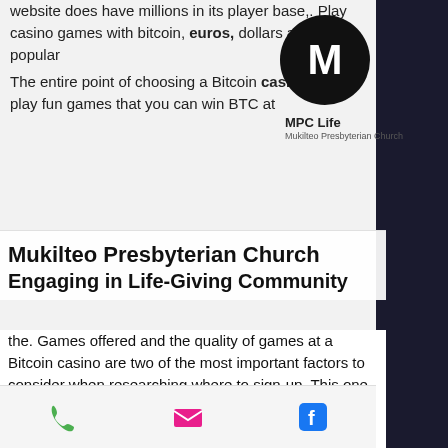[Figure (logo): Black circle with white letter M, MPC Life label below]
website does have millions in its player base,. Play casino games with bitcoin, euros, dollars and other popular
The entire point of choosing a Bitcoin casino is to play fun games that you can win BTC at
Mukilteo Presbyterian Church
Engaging in Life-Giving Community
the. Games offered and the quality of games at a Bitcoin casino are two of the most important factors to consider when researching where to sign-up. This one is a bit subjective though because there are several Bitcoin casinos that offer over 1000 games to play, but if you're looking for a particular Bitcoin dice game that they don't support, then that casino is worthless to you. So we do give weight to crypto casinos with a higher game count, but you should check out our guides on specific games to see which crypto casino is best at what you value most, bitstarz.com bitcoin casino. Reputation
[Figure (infographic): Bottom navigation bar with phone icon (green), email icon (pink/magenta), and Facebook icon (blue)]